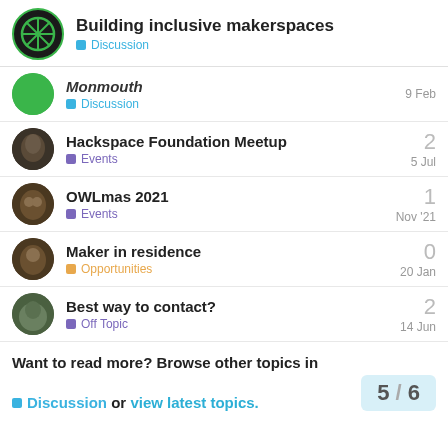Building inclusive makerspaces — Discussion
Monmouth | Discussion | 9 Feb
Hackspace Foundation Meetup | Events | 5 Jul | 2 replies
OWLmas 2021 | Events | Nov '21 | 1 reply
Maker in residence | Opportunities | 20 Jan | 0 replies
Best way to contact? | Off Topic | 14 Jun | 2 replies
Want to read more? Browse other topics in Discussion or view latest topics. 5 / 6